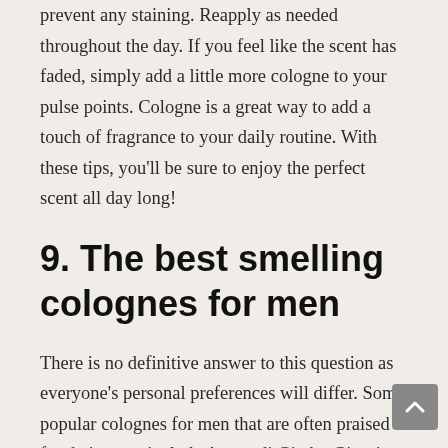prevent any staining. Reapply as needed throughout the day. If you feel like the scent has faded, simply add a little more cologne to your pulse points. Cologne is a great way to add a touch of fragrance to your daily routine. With these tips, you'll be sure to enjoy the perfect scent all day long!
9. The best smelling colognes for men
There is no definitive answer to this question as everyone's personal preferences will differ. Some popular colognes for men that are often praised for their scent include Acqua di Gio by Giorgio Armani, Bleu de Chanel by Chanel, and Tom Ford Black Orchid.